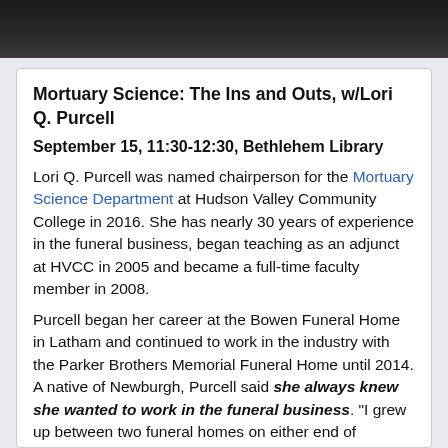[Figure (photo): Partial photo of a person, cropped at top of page, showing dark clothing or hair against a light background]
Mortuary Science: The Ins and Outs, w/Lori Q. Purcell
September 15, 11:30-12:30, Bethlehem Library
Lori Q. Purcell was named chairperson for the Mortuary Science Department at Hudson Valley Community College in 2016. She has nearly 30 years of experience in the funeral business, began teaching as an adjunct at HVCC in 2005 and became a full-time faculty member in 2008.
Purcell began her career at the Bowen Funeral Home in Latham and continued to work in the industry with the Parker Brothers Memorial Funeral Home until 2014. A native of Newburgh, Purcell said she always knew she wanted to work in the funeral business. "I grew up between two funeral homes on either end of